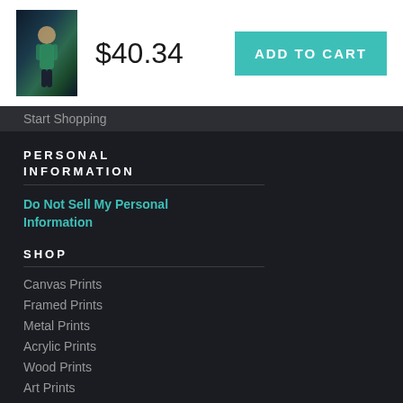[Figure (photo): Product thumbnail of a basketball player poster]
$40.34
ADD TO CART
Start Shopping
PERSONAL INFORMATION
Do Not Sell My Personal Information
SHOP
Canvas Prints
Framed Prints
Metal Prints
Acrylic Prints
Wood Prints
Art Prints
HELP
Contact Us
Frequently Asked Questions